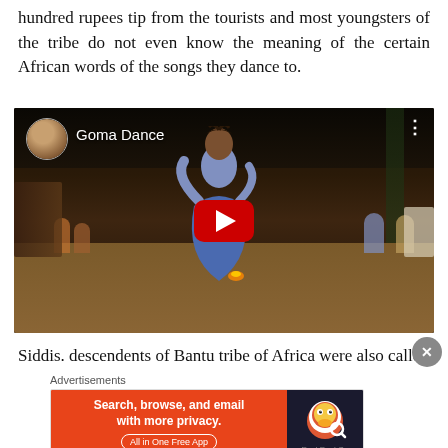hundred rupees tip from the tourists and most youngsters of the tribe do not even know the meaning of the certain African words of the songs they dance to.
[Figure (screenshot): YouTube video thumbnail showing Goma Dance - a woman in blue dress dancing at an outdoor nighttime event with spectators and other dancers in background. Red YouTube play button centered on image. Channel avatar in top-left corner.]
Siddis. descendents of Bantu tribe of Africa were also calle
Advertisements
[Figure (screenshot): DuckDuckGo advertisement banner: 'Search, browse, and email with more privacy. All in One Free App' with DuckDuckGo logo on dark background on right side.]